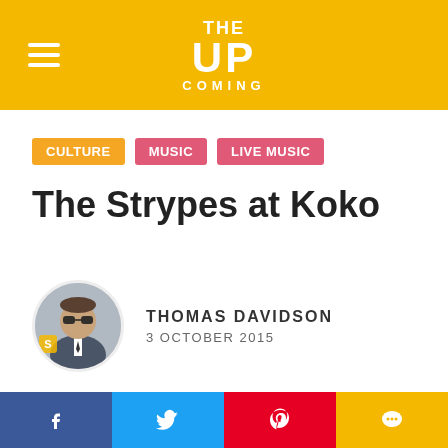THE UP COMING
CULTURE
MUSIC
LIVE MUSIC
The Strypes at Koko
THOMAS DAVIDSON — 3 OCTOBER 2015
The Strypes at Koko Camden
★★★★☆
Highlights
Favourite City, Get Into It
Facebook Twitter Pinterest Chat